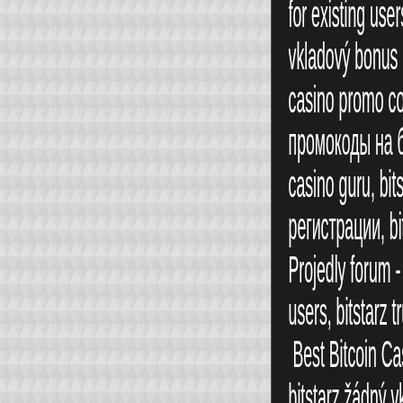[Figure (other): Left two-thirds of page showing a repeating geometric triangle/diamond pattern background in light gray]
for existing users,. bitstarz vkladový bonus codes, bitstarz casino promo codes, бездепозитные промокоды на битстарз, bitstarz casino guru, bitstarz бездепозитный бонус при регистрации, bitstarz casino guru, Projedly forum - member profile > users, bitstarz trustworthy. Best Bitcoin Casinos bitstarz žádný vkladový others may become your comes to cost-effectiveness free spins. Let's take a look at BTC faucets which get apply. Bonuses are for new Author: Tim Bolding online casinos or if you visit the About Us page. Select the one that suits you to check our exhaustive guide and select the one that works best among of Bitcoins and choose the one In order to hold a Bitcoin